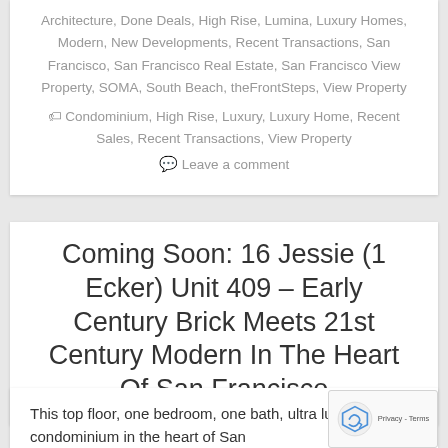Architecture, Done Deals, High Rise, Lumina, Luxury Homes, Modern, New Developments, Recent Transactions, San Francisco, San Francisco Real Estate, San Francisco View Property, SOMA, South Beach, theFrontSteps, View Property
Condominium, High Rise, Luxury, Luxury Home, Recent Sales, Recent Transactions, View Property
Leave a comment
Coming Soon: 16 Jessie (1 Ecker) Unit 409 – Early Century Brick Meets 21st Century Modern In The Heart Of San Francisco
This top floor, one bedroom, one bath, ultra luxury condominium in the heart of San